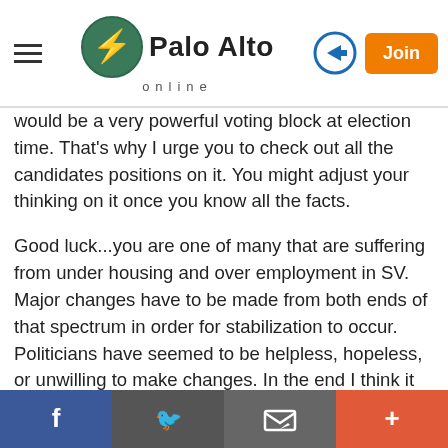Palo Alto online
would be a very powerful voting block at election time. That's why I urge you to check out all the candidates positions on it. You might adjust your thinking on it once you know all the facts.
Good luck...you are one of many that are suffering from under housing and over employment in SV. Major changes have to be made from both ends of that spectrum in order for stabilization to occur. Politicians have seemed to be helpless, hopeless, or unwilling to make changes. In the end I think it will have to be up to companies to correct the situation, and so far they aren't making any major steps to do that. They all want to grow, grow, grow, right here in SV without taking responsibility for mitigating impacts of that growth.
Social share bar: Facebook, Twitter, Email, More